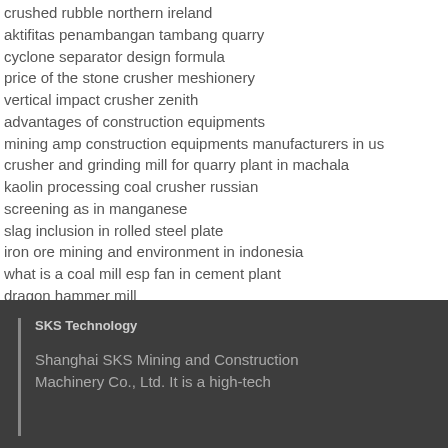crushed rubble northern ireland
aktifitas penambangan tambang quarry
cyclone separator design formula
price of the stone crusher meshionery
vertical impact crusher zenith
advantages of construction equipments
mining amp construction equipments manufacturers in us
crusher and grinding mill for quarry plant in machala
kaolin processing coal crusher russian
screening as in manganese
slag inclusion in rolled steel plate
iron ore mining and environment in indonesia
what is a coal mill esp fan in cement plant
dragon hammer mill
SKS Technology
Shanghai SKS Mining and Construction Machinery Co., Ltd. It is a high-tech